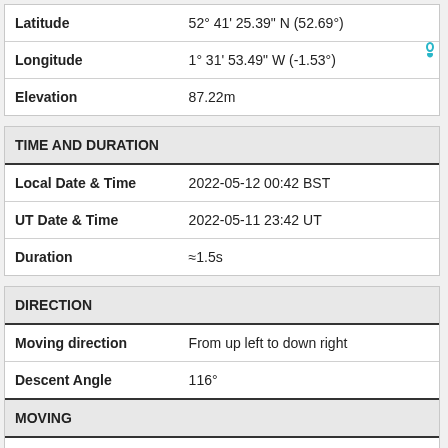| Field | Value |
| --- | --- |
| Latitude | 52° 41' 25.39" N (52.69°) |
| Longitude | 1° 31' 53.49" W (-1.53°) |
| Elevation | 87.22m |
| TIME AND DURATION |  |
| --- | --- |
| Local Date & Time | 2022-05-12 00:42 BST |
| UT Date & Time | 2022-05-11 23:42 UT |
| Duration | ≈1.5s |
| DIRECTION |  |
| --- | --- |
| Moving direction | From up left to down right |
| Descent Angle | 116° |
| MOVING |  |
| Facing azimuth | 193.08° |
| First azimuth | - |